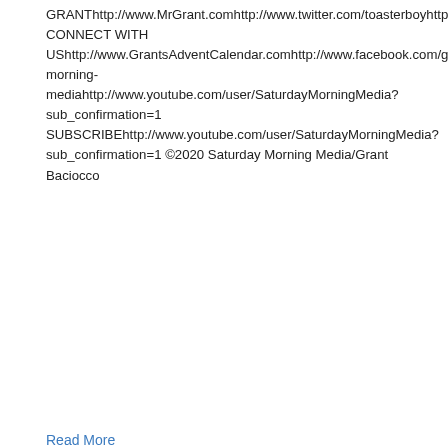GRANThttp://www.MrGrant.comhttp://www.twitter.com/toasterboyhttps://instagram.com/throwingtoasters/ CONNECT WITH UShttp://www.GrantsAdventCalendar.comhttp://www.facebook.com/grantsadventhttp://www.twitter.com/SaturdayMMediahttps://www.linkedin.com/company/saturday-morning-mediahttp://www.youtube.com/user/SaturdayMorningMedia?sub_confirmation=1 SUBSCRIBEhttp://www.youtube.com/user/SaturdayMorningMedia?sub_confirmation=1 ©2020 Saturday Morning Media/Grant Baciocco
Read More
Grant's Advent Calendar 2020 – Day #24 – CHRISTMAS EVE!